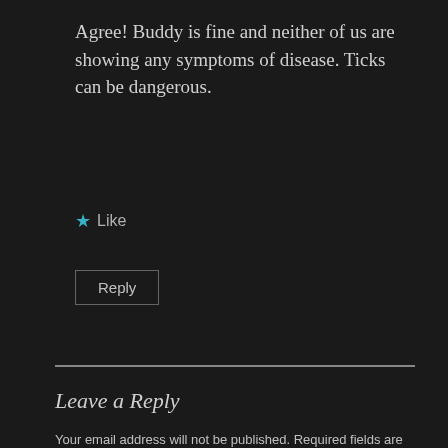Agree! Buddy is fine and neither of us are showing any symptoms of disease. Ticks can be dangerous.
★ Like
Reply
Leave a Reply
Your email address will not be published. Required fields are marked *
COMMENT *